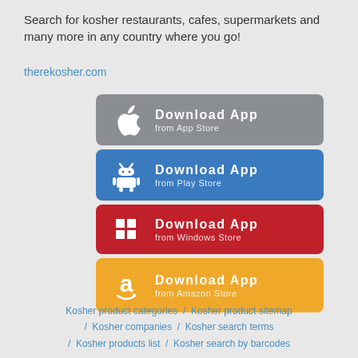Search for kosher restaurants, cafes, supermarkets and many more in any country where you go!
therekosher.com
[Figure (infographic): Four app store download buttons: Apple App Store (gray), Google Play Store (blue), Windows Store (red), Amazon Store (orange/yellow). Each button has the store icon on the left and 'Download App / from [Store Name]' text on the right.]
Kosher product categories / Kosher product sitemap / Kosher companies / Kosher search terms / Kosher products list / Kosher search by barcodes